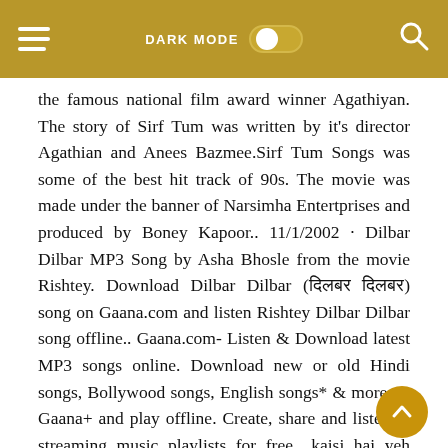DARK MODE [toggle] [search icon]
the famous national film award winner Agathiyan. The story of Sirf Tum was written by it's director Agathian and Anees Bazmee.Sirf Tum Songs was some of the best hit track of 90s. The movie was made under the banner of Narsimha Entertprises and produced by Boney Kapoor.. 11/1/2002 · Dilbar Dilbar MP3 Song by Asha Bhosle from the movie Rishtey. Download Dilbar Dilbar (दिलबर दिलबर) song on Gaana.com and listen Rishtey Dilbar Dilbar song offline.. Gaana.com- Listen & Download latest MP3 songs online. Download new or old Hindi songs, Bollywood songs, English songs* & more on Gaana+ and play offline. Create, share and listen to streaming music playlists for free.. kaisi hai yeh dooriyan koi hal hi download mp3, tharame tharame girl version download, o mahi menu chadyo na dj mp3 song download, pagalworld, dilbar wala video mein download